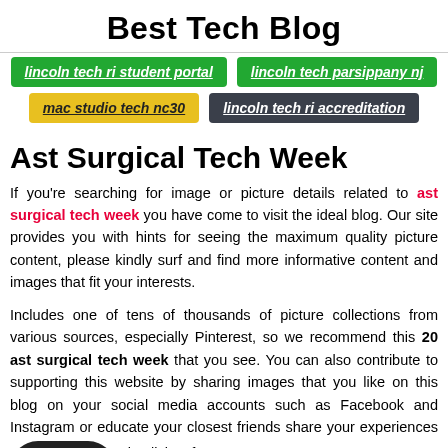Best Tech Blog
lincoln tech ri student portal
lincoln tech parsippany nj
mac studio tech nc30
lincoln tech ri accreditation
Ast Surgical Tech Week
If you're searching for image or picture details related to ast surgical tech week you have come to visit the ideal blog. Our site provides you with hints for seeing the maximum quality picture content, please kindly surf and find more informative content and images that fit your interests.

Includes one of tens of thousands of picture collections from various sources, especially Pinterest, so we recommend this 20 ast surgical tech week that you see. You can also contribute to supporting this website by sharing images that you like on this blog on your social media accounts such as Facebook and Instagram or educate your closest friends share your experiences simplicity of access to